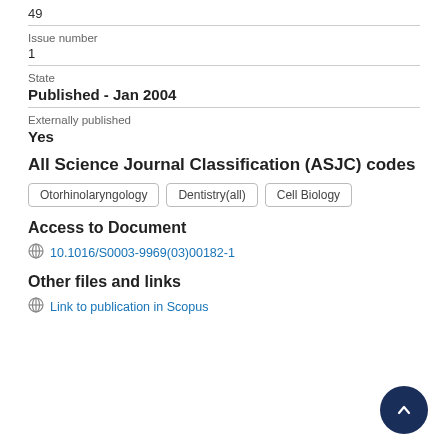49
Issue number
1
State
Published - Jan 2004
Externally published
Yes
All Science Journal Classification (ASJC) codes
Otorhinolaryngology  Dentistry(all)  Cell Biology
Access to Document
10.1016/S0003-9969(03)00182-1
Other files and links
Link to publication in Scopus